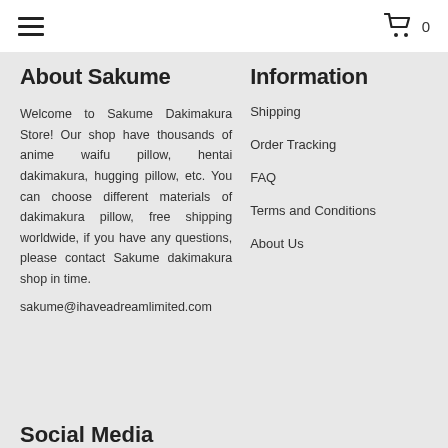≡  0
About Sakume
Welcome to Sakume Dakimakura Store! Our shop have thousands of anime waifu pillow, hentai dakimakura, hugging pillow, etc. You can choose different materials of dakimakura pillow, free shipping worldwide, if you have any questions, please contact Sakume dakimakura shop in time.
sakume@ihaveadreamlimited.com
Information
Shipping
Order Tracking
FAQ
Terms and Conditions
About Us
Social Media